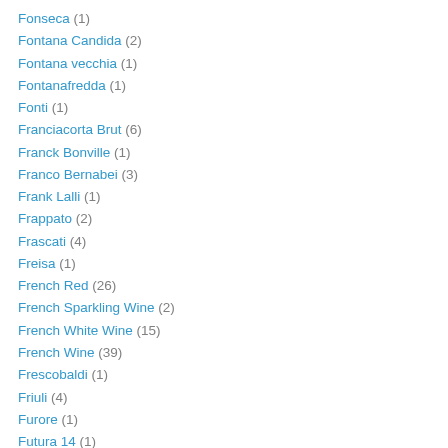Fonseca (1)
Fontana Candida (2)
Fontana vecchia (1)
Fontanafredda (1)
Fonti (1)
Franciacorta Brut (6)
Franck Bonville (1)
Franco Bernabei (3)
Frank Lalli (1)
Frappato (2)
Frascati (4)
Freisa (1)
French Red (26)
French Sparkling Wine (2)
French White Wine (15)
French Wine (39)
Frescobaldi (1)
Friuli (4)
Furore (1)
Futura 14 (1)